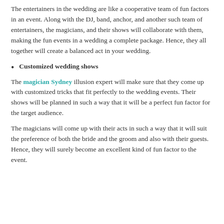The entertainers in the wedding are like a cooperative team of fun factors in an event. Along with the DJ, band, anchor, and another such team of entertainers, the magicians, and their shows will collaborate with them, making the fun events in a wedding a complete package. Hence, they all together will create a balanced act in your wedding.
Customized wedding shows
The magician Sydney illusion expert will make sure that they come up with customized tricks that fit perfectly to the wedding events. Their shows will be planned in such a way that it will be a perfect fun factor for the target audience.
The magicians will come up with their acts in such a way that it will suit the preference of both the bride and the groom and also with their guests. Hence, they will surely become an excellent kind of fun factor to the event.